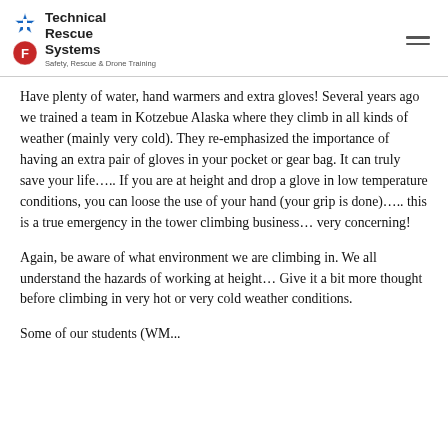Technical Rescue Systems — Safety, Rescue & Drone Training
Have plenty of water, hand warmers and extra gloves!  Several years ago we trained a team in Kotzebue Alaska where they climb in all kinds of weather (mainly very cold).  They re-emphasized the importance of having an extra pair of gloves in your pocket or gear bag.  It can truly save your life…..  If you are at height and drop a glove in low temperature conditions, you can loose the use of your hand (your grip is done)….. this is a true emergency in the tower climbing business… very concerning!
Again, be aware of what environment we are climbing in.  We all understand the hazards of working at height…  Give it a bit more thought before climbing in very hot or very cold weather conditions.
Some of our students (WM…